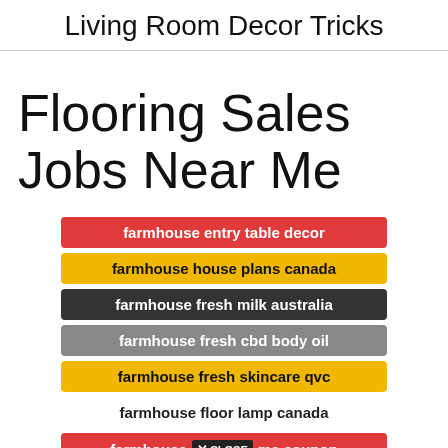Living Room Decor Tricks
Flooring Sales Jobs Near Me
farmhouse entry table decor
farmhouse house plans canada
farmhouse fresh milk australia
farmhouse fresh cbd body oil
farmhouse fresh skincare qvc
farmhouse floor lamp canada
farmhouse X CLOSE me coupon